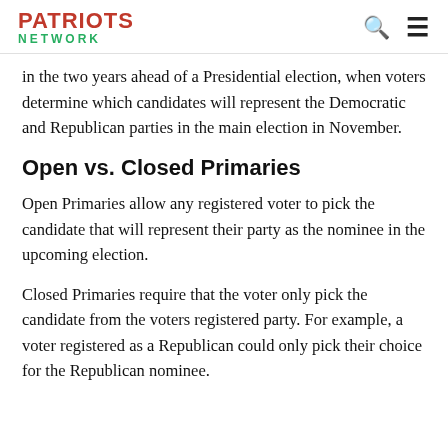PATRIOTS NETWORK
in the two years ahead of a Presidential election, when voters determine which candidates will represent the Democratic and Republican parties in the main election in November.
Open vs. Closed Primaries
Open Primaries allow any registered voter to pick the candidate that will represent their party as the nominee in the upcoming election.
Closed Primaries require that the voter only pick the candidate from the voters registered party. For example, a voter registered as a Republican could only pick their choice for the Republican nominee.